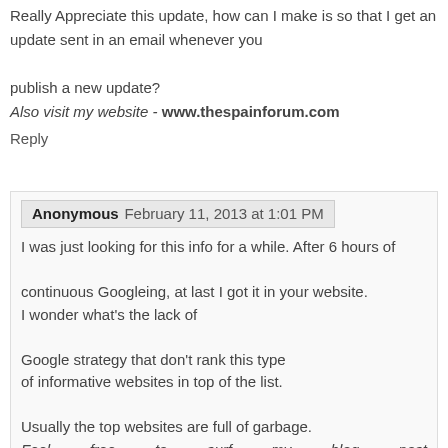Really Appreciate this update, how can I make is so that I get an update sent in an email whenever you publish a new update?
Also visit my website - www.thespainforum.com
Reply
Anonymous  February 11, 2013 at 1:01 PM
I was just looking for this info for a while. After 6 hours of continuous Googleing, at last I got it in your website. I wonder what's the lack of Google strategy that don't rank this type of informative websites in top of the list.
Usually the top websites are full of garbage.
Feel free to surf my blog post http://www.Diysolarheatingspain.com/
Reply
Anonymous  February 12, 2013 at 12:26 PM
Great post. I was checking constantly this blog and I am